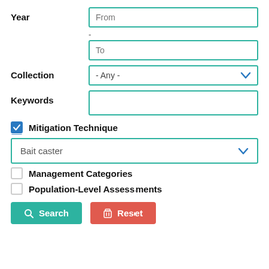Year
From
-
To
Collection
- Any -
Keywords
Mitigation Technique
Bait caster
Management Categories
Population-Level Assessments
Search
Reset